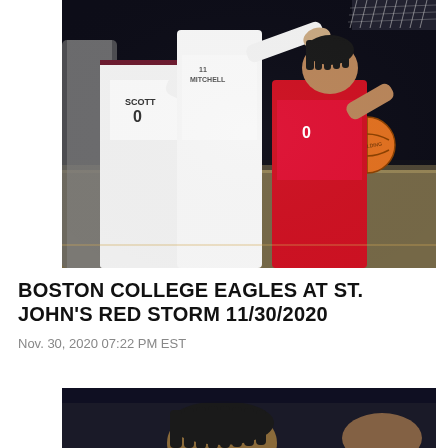[Figure (photo): Basketball action shot: two Boston College Eagles players (SCOTT #0 and MITCHELL #11) in white/maroon uniforms defending against a St. John's Red Storm player in red #0 who is driving to the basket. A basketball hoop and ball are visible. Dark arena background.]
BOSTON COLLEGE EAGLES AT ST. JOHN'S RED STORM 11/30/2020
Nov. 30, 2020 07:22 PM EST
[Figure (photo): Partial photo of basketball players, viewed from above/behind, showing hair/heads of players in arena setting.]